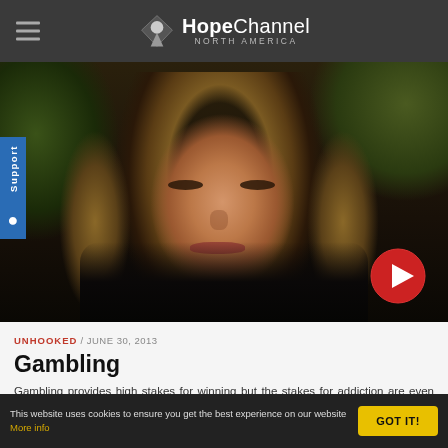HopeChannel NORTH AMERICA
[Figure (photo): Middle-aged woman with curly hair, eyes closed, outdoors background, dark clothing. Video thumbnail with red play button overlay.]
UNHOOKED / JUNE 30, 2013
Gambling
Gambling provides high stakes for winning but the stakes for addiction are even greater. In this episode, the euphoric high of winning is discussed, along with the effect losing has on one's financial, emotional and physical health.
This website uses cookies to ensure you get the best experience on our website More info  GOT IT!